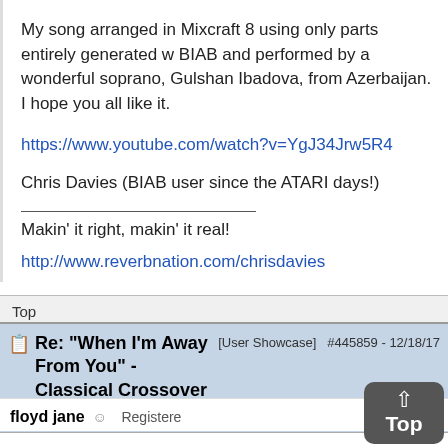My song arranged in Mixcraft 8 using only parts entirely generated w BIAB and performed by a wonderful soprano, Gulshan Ibadova, from Azerbaijan. I hope you all like it.
https://www.youtube.com/watch?v=YgJ34Jrw5R4
Chris Davies (BIAB user since the ATARI days!)
Makin' it right, makin' it real!
http://www.reverbnation.com/chrisdavies
Top
Re: "When I'm Away From You" - Classical Crossover [Re: CeeDee]
[User Showcase]  #445859 - 12/18/17
floyd jane  Registere